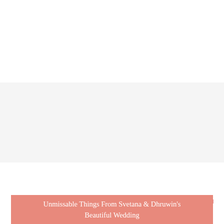[Figure (other): White top area of a website page, appears blank/header area]
≡  LOGIN
Unmissable Things From Svetana & Dhruwin's Beautiful Wedding